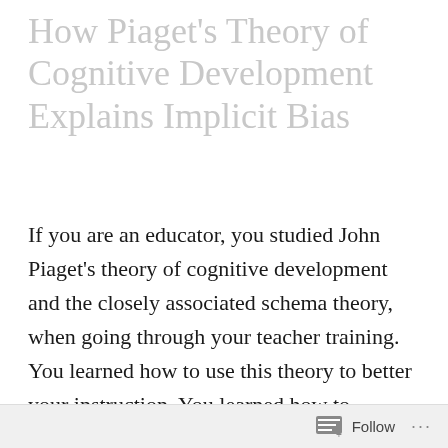How Piaget's Theory of Cognitive Development Explains Implicit Bias
If you are an educator, you studied John Piaget's theory of cognitive development and the closely associated schema theory, when going through your teacher training.  You learned how to use this theory to better your instruction. You learned how to activate or build schema before beginning your lessons. However, what you likely didn't learn is how the schema theory
Follow ···